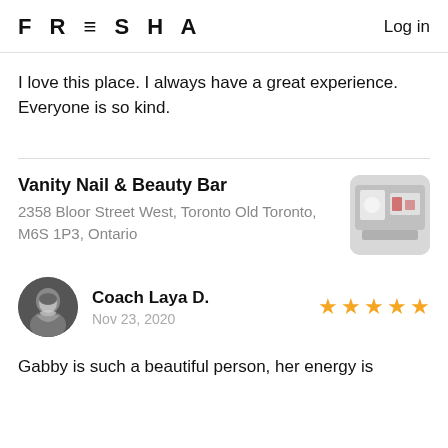FRESHA   Log in
I love this place. I always have a great experience. Everyone is so kind.
Vanity Nail & Beauty Bar
2358 Bloor Street West, Toronto Old Toronto, M6S 1P3, Ontario
[Figure (photo): Thumbnail photo of Vanity Nail & Beauty Bar salon interior]
[Figure (photo): Circular avatar photo of reviewer Coach Laya D., black and white portrait of a woman smiling]
Coach Laya D.
Nov 23, 2020
Gabby is such a beautiful person, her energy is